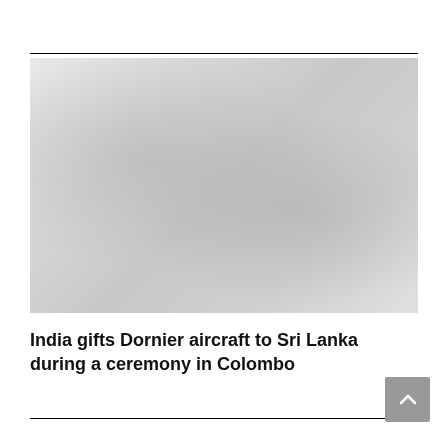[Figure (photo): A faded/low-contrast photograph showing what appears to be an aircraft ceremony or outdoor event scene]
India gifts Dornier aircraft to Sri Lanka during a ceremony in Colombo